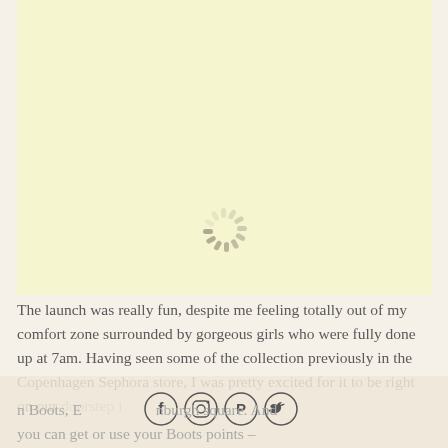[Figure (photo): Light yellow/cream colored image area with a loading spinner (circular dashed spinner) in the lower center, indicating an image that has not yet loaded.]
The launch was really fun, despite me feeling totally out of my comfort zone surrounded by gorgeous girls who were fully done up at 7am. Having seen some of the collection previously in the Copenhagen Sephora store, I was pretty excited for it to be right on our doorstep in Boots, Edinburgh square. And you can get or use your Boots points –
[Figure (infographic): Social media icons bar at the bottom: Facebook, Instagram, Pinterest, Twitter icons in circles.]